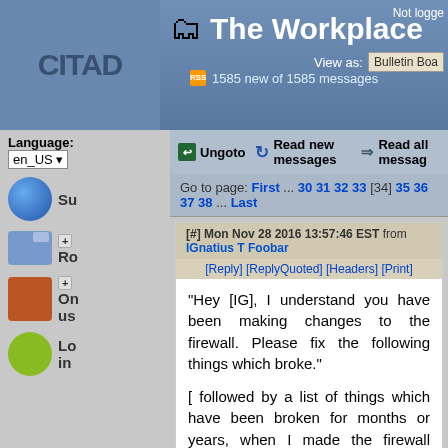The Workplace — 1585 new of 1585 messages
Not logged
View as: Bulletin Board
Language: en_US
Ungoto  Read new messages  Read all messages
Go to page: First ... 30 31 32 33 [34] 35 36 37 38 ... Last
[#] Mon Nov 28 2016 13:57:46 EST from IGnatius T Foobar
[Reply] [ReplyQuoted] [Headers] [Print]

"Hey [IG], I understand you have been making changes to the firewall. Please fix the following things which broke."

[ followed by a list of things which have been broken for months or years, when I made the firewall changes three weeks ago ]

Yeah buddy, sure thing. Watch me whip out a tennis racket big enough to deflect the albatross you just tried to lob my way.
[#] Fri Dec 02 2016 14:29:52 EST from fleeb